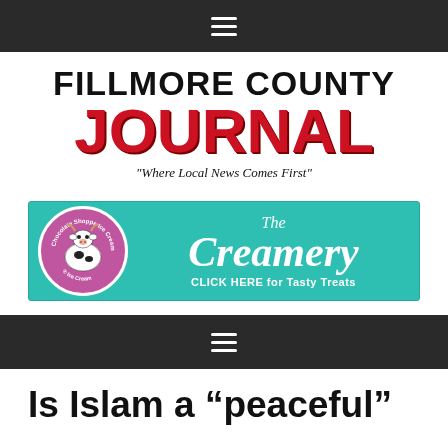☰ navigation menu
[Figure (logo): Fillmore County Journal logo with tagline 'Where Local News Comes First']
[Figure (illustration): The Creamery advertisement banner with teal background, Chocolate Shoppe Ice Cream circular logo, and text 'The Creamery - CLICK HERE for Tasty Treats']
☰ navigation menu
Is Islam a "peaceful"